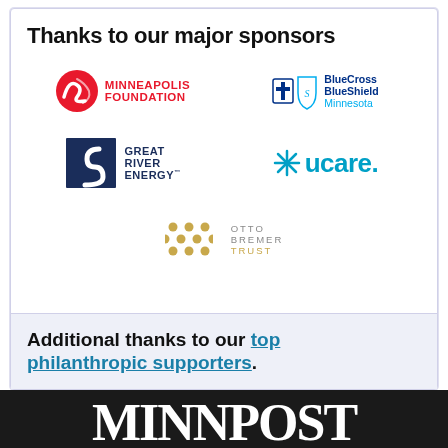Thanks to our major sponsors
[Figure (logo): Minneapolis Foundation logo — red circular wave icon with red bold text MINNEAPOLIS FOUNDATION]
[Figure (logo): BlueCross BlueShield Minnesota logo — blue cross and shield icons with dark blue bold text BlueCross BlueShield and light blue text Minnesota]
[Figure (logo): Great River Energy logo — dark navy square with stylized S/river shape, bold navy text GREAT RIVER ENERGY]
[Figure (logo): UCare logo — snowflake/asterisk icon in teal, bold teal text ucare with period]
[Figure (logo): Otto Bremer Trust logo — grid of gold dots with gray spaced-letter text OTTO BREMER TRUST]
Additional thanks to our top philanthropic supporters.